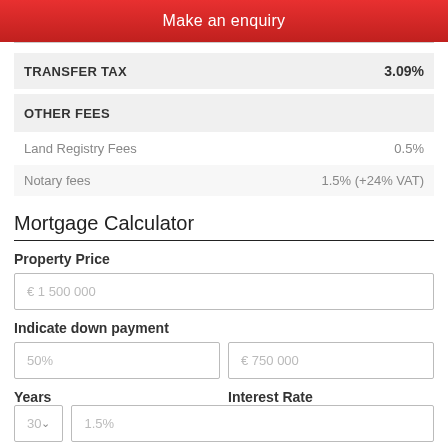Make an enquiry
|  |  |
| --- | --- |
| TRANSFER TAX | 3.09% |
| OTHER FEES |  |
| Land Registry Fees | 0.5% |
| Notary fees | 1.5% (+24% VAT) |
Mortgage Calculator
Property Price
€ 1 500 000
Indicate down payment
50%
€ 750 000
Years
Interest Rate
30
1.5%